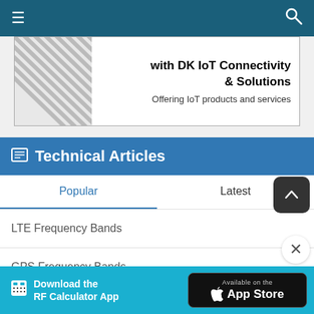Navigation bar with menu and search icons
[Figure (screenshot): Advertisement banner for DK IoT Connectivity & Solutions offering IoT products and services, with diagonal lines graphic on left]
Technical Articles
Popular | Latest (tabs)
LTE Frequency Bands
GPS Frequency Bands
What are S-Parameters?
5G Frequency Bands
[Figure (screenshot): Bottom advertisement bar: Download the RF Calculator App, Available on the App Store]
Download the RF Calculator App — Available on the App Store